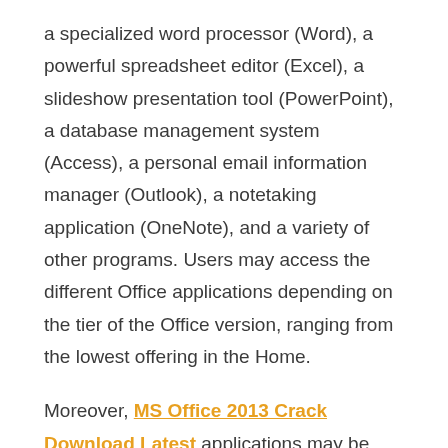a specialized word processor (Word), a powerful spreadsheet editor (Excel), a slideshow presentation tool (PowerPoint), a database management system (Access), a personal email information manager (Outlook), a notetaking application (OneNote), and a variety of other programs. Users may access the different Office applications depending on the tier of the Office version, ranging from the lowest offering in the Home.
Moreover, MS Office 2013 Crack Download Latest applications may be bought alone or as part of retail or digital bundles. They can also be purchased as part of Office 365 subscriptions or as single apps. Office 365 is an internet-focused version of the Office suite that provides not just online access to web programs, but also